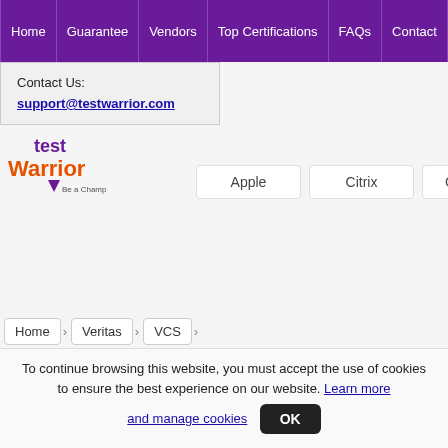Home | Guarantee | Vendors | Top Certifications | FAQs | Contact
Contact Us: support@testwarrior.com
[Figure (logo): TestWarrior logo with orange and purple text and 'Be a Champ' tagline]
Apple | Citrix | CompTIA
Home > Veritas > VCS
To continue browsing this website, you must accept the use of cookies to ensure the best experience on our website. Learn more and manage cookies OK